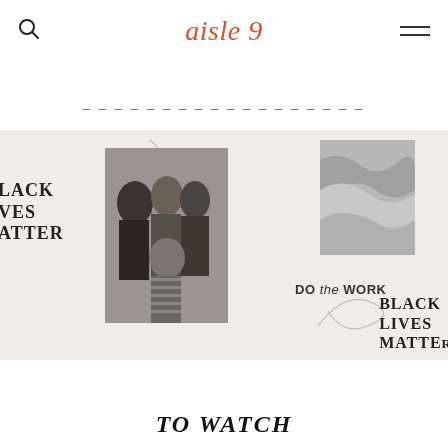aisle 9
_ _ _ _ _ _ _ _ _ _ _ _ _ _ _ _ _ _
[Figure (screenshot): Banner image showing diverse group of people and fabric texture, with text overlays: BLACK LIVES MATTER (left), DO the WORK (center), BLACK LIVES MATTE... (right). Decorative swirl lines on light beige background.]
TO WATCH